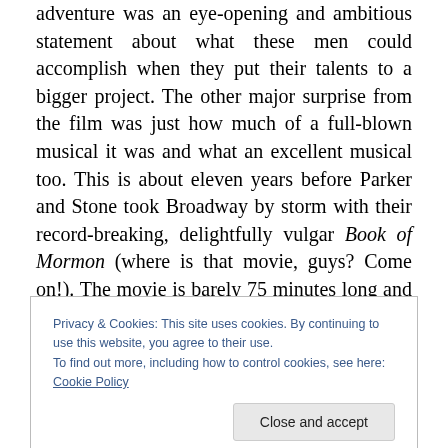adventure was an eye-opening and ambitious statement about what these men could accomplish when they put their talents to a bigger project. The other major surprise from the film was just how much of a full-blown musical it was and what an excellent musical too. This is about eleven years before Parker and Stone took Broadway by storm with their record-breaking, delightfully vulgar Book of Mormon (where is that movie, guys? Come on!). The movie is barely 75 minutes long and the soundtrack album is 50 minutes long, so by my estimate a solid half of the movie is people singing. The composition of the songs
Privacy & Cookies: This site uses cookies. By continuing to use this website, you agree to their use.
To find out more, including how to control cookies, see here: Cookie Policy
Close and accept